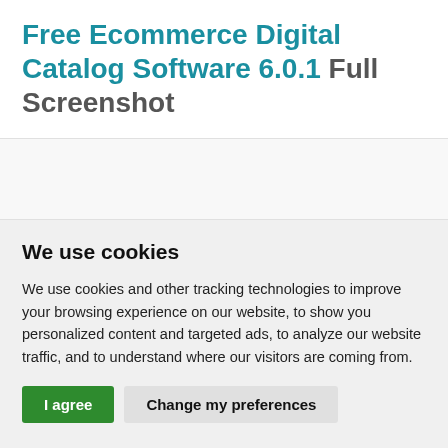Free Ecommerce Digital Catalog Software 6.0.1 Full Screenshot
[Figure (screenshot): Blank white area placeholder for screenshot image]
We use cookies
We use cookies and other tracking technologies to improve your browsing experience on our website, to show you personalized content and targeted ads, to analyze our website traffic, and to understand where our visitors are coming from.
I agree   Change my preferences